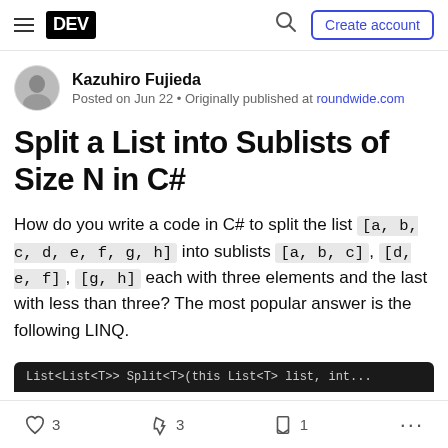DEV | Create account
Kazuhiro Fujieda
Posted on Jun 22 • Originally published at roundwide.com
Split a List into Sublists of Size N in C#
How do you write a code in C# to split the list [a, b, c, d, e, f, g, h] into sublists [a, b, c], [d, e, f], [g, h] each with three elements and the last with less than three? The most popular answer is the following LINQ.
3  3  1  ...